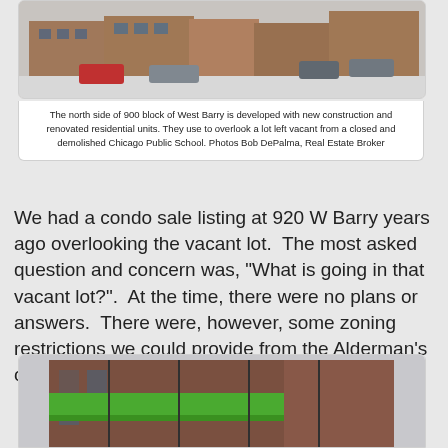[Figure (photo): Street view of north side of 900 block of West Barry showing residential buildings and parked cars in winter with snow on the ground]
The north side of 900 block of West Barry is developed with new construction and renovated residential units. They use to overlook a lot left vacant from a closed and demolished Chicago Public School. Photos Bob DePalma, Real Estate Broker
We had a condo sale listing at 920 W Barry years ago overlooking the vacant lot.  The most asked question and concern was, "What is going in that vacant lot?".  At the time, there were no plans or answers.  There were, however, some zoning restrictions we could provide from the Alderman's office.
[Figure (photo): Building under construction with green scaffolding or panels on the upper portion, brick exterior visible]